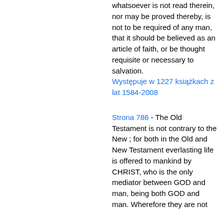whatsoever is not read therein, nor may be proved thereby, is not to be required of any man, that it should be believed as an article of faith, or be thought requisite or necessary to salvation.
Występuje w 1227 książkach z lat 1584-2008
Strona 786 - The Old Testament is not contrary to the New ; for both in the Old and New Testament everlasting life is offered to mankind by CHRIST, who is the only mediator between GOD and man, being both GOD and man. Wherefore they are not